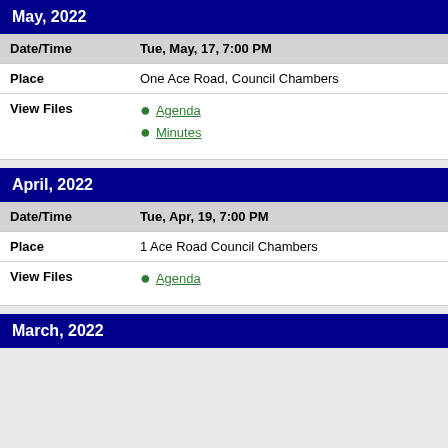May, 2022
| Date/Time | Tue, May, 17, 7:00 PM |
| Place | One Ace Road, Council Chambers |
| View Files | Agenda
Minutes |
April, 2022
| Date/Time | Tue, Apr, 19, 7:00 PM |
| Place | 1 Ace Road Council Chambers |
| View Files | Agenda |
March, 2022